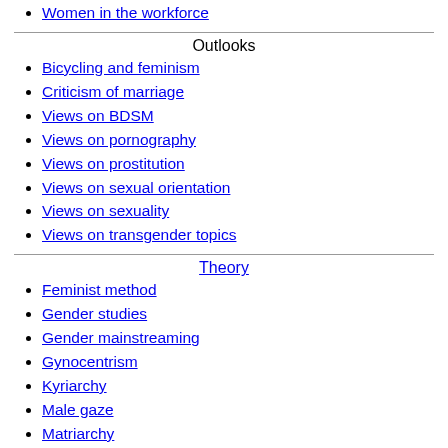Women in the workforce
Outlooks
Bicycling and feminism
Criticism of marriage
Views on BDSM
Views on pornography
Views on prostitution
Views on sexual orientation
Views on sexuality
Views on transgender topics
Theory
Feminist method
Gender studies
Gender mainstreaming
Gynocentrism
Kyriarchy
Male gaze
Matriarchy
Women's studies
Men's studies
Patriarchy
Écriture féminine